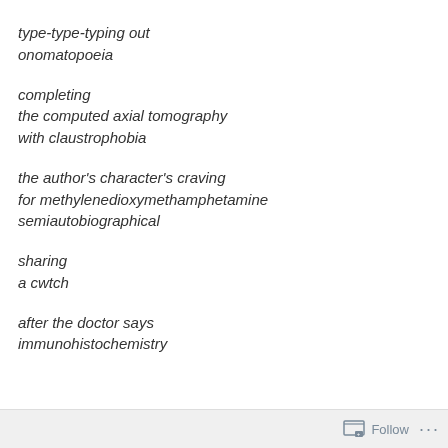type-type-typing out
onomatopoeia
completing
the computed axial tomography
with claustrophobia
the author's character's craving
for methylenedioxymethamphetamine
semiautobiographical
sharing
a cwtch
after the doctor says
immunohistochemistry
Follow ...